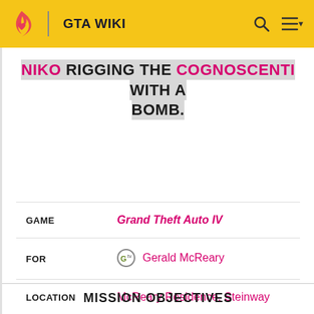GTA WIKI
NIKO RIGGING THE COGNOSCENTI WITH A BOMB.
| Field | Value |
| --- | --- |
| GAME | Grand Theft Auto IV |
| FOR | Gerald McReary |
| LOCATION | McReary Residence, Steinway |
| TARGET | Tony Black |
MISSION OBJECTIVES